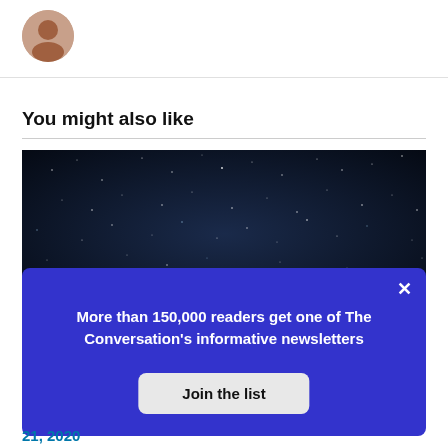[Figure (photo): Circular avatar photo of a person, partially visible at top of page]
You might also like
[Figure (photo): Dark night sky with stars, used as background image for article thumbnail]
[Figure (screenshot): Modal popup with blue background showing newsletter subscription prompt. Text: 'More than 150,000 readers get one of The Conversation's informative newsletters' with a 'Join the list' button and X close button]
21, 2020